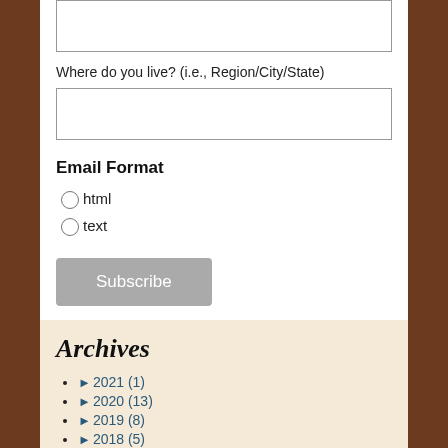Where do you live? (i.e., Region/City/State)
Email Format
html
text
Subscribe
Archives
► 2021 (1)
► 2020 (13)
► 2019 (8)
► 2018 (5)
► 2017 (46)
► 2016 (23)
► 2015 (8)